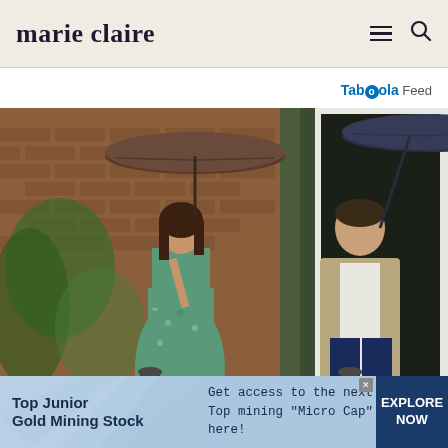marie claire
Taboola Feed
[Figure (photo): A woman in a green floral dress holding a brown umbrella and a man in a beige blazer and navy trousers holding a dark umbrella, standing in front of a brick wall with green ivy.]
Top Junior Gold Mining Stock  Get access to the next Top mining "Micro Cap" here!  EXPLORE NOW